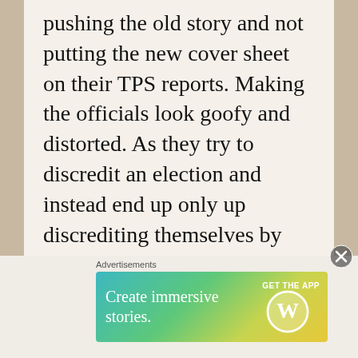pushing the old story and not putting the new cover sheet on their TPS reports. Making the officials look goofy and distorted. As they try to discredit an election and instead end up only up discrediting themselves by turning their desk around.
Advertisements
[Figure (other): WordPress advertisement banner with gradient background (teal to yellow-green). Text reads 'Create immersive stories.' with 'GET THE APP' and WordPress logo on the right.]